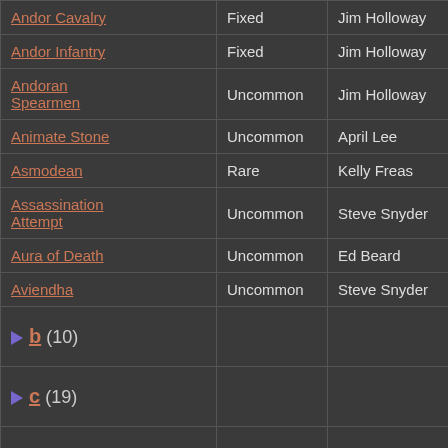| Name | Rarity | Artist | Type |  |
| --- | --- | --- | --- | --- |
| Andor Cavalry | Fixed | Jim Holloway | Troop | A… |
| Andor Infantry | Fixed | Jim Holloway | Troop | A… |
| Andoran Spearmen | Uncommon | Jim Holloway | Troop | A… |
| Animate Stone | Uncommon | April Lee | Event |  |
| Asmodean | Rare | Kelly Freas | Character | Da… |
| Assassination Attempt | Uncommon | Steve Snyder | Challenge |  |
| Aura of Death | Uncommon | Ed Beard | Advantage | Ch… |
| Aviendha | Uncommon | Steve Snyder | Character | Ai… |
| ▶ b (10) |  |  |  |  |
| ▶ c (19) |  |  |  |  |
| ▶ d (18) |  |  |  |  |